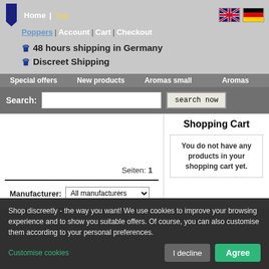Home | Top | Poppers | Account | Cart | Checkout
48 hours shipping in Germany
Discreet Shipping
Special offers   New products   Aromas small   Aromas
Search:
Seiten: 1
Manufacturer: All manufacturers
Shopping Cart
You do not have any products in your shopping cart yet.
Shop discreetly - the way you want! We use cookies to improve your browsing experience and to show you suitable offers. Of course, you can also customise them according to your personal preferences.
Customise cookies
I decline   Agree